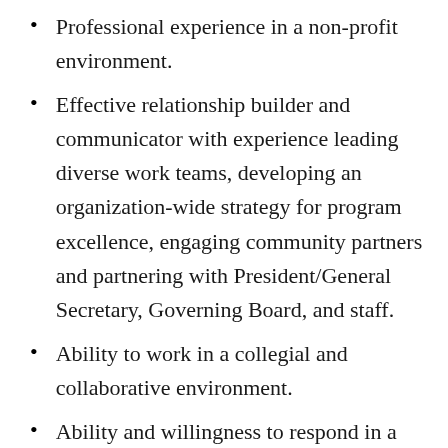Professional experience in a non-profit environment.
Effective relationship builder and communicator with experience leading diverse work teams, developing an organization-wide strategy for program excellence, engaging community partners and partnering with President/General Secretary, Governing Board, and staff.
Ability to work in a collegial and collaborative environment.
Ability and willingness to respond in a